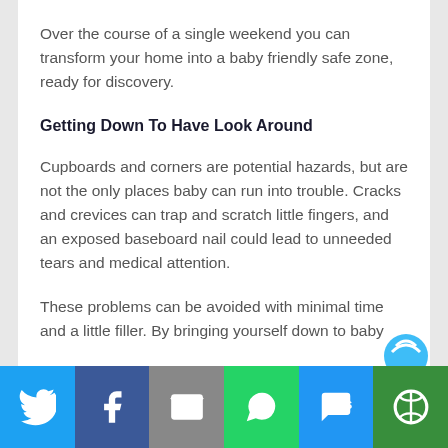Over the course of a single weekend you can transform your home into a baby friendly safe zone, ready for discovery.
Getting Down To Have Look Around
Cupboards and corners are potential hazards, but are not the only places baby can run into trouble. Cracks and crevices can trap and scratch little fingers, and an exposed baseboard nail could lead to unneeded tears and medical attention.
These problems can be avoided with minimal time and a little filler. By bringing yourself down to baby
[Figure (infographic): Social sharing toolbar with Twitter, Facebook, Email, WhatsApp, SMS, and More buttons]